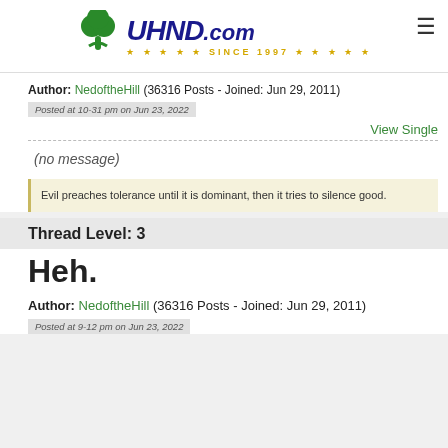[Figure (logo): UHND.com logo with shamrock and stars, Since 1997]
Author: NedoftheHill (36316 Posts - Joined: Jun 29, 2011)
Posted at 10-31 pm on Jun 23, 2022
View Single
(no message)
Evil preaches tolerance until it is dominant, then it tries to silence good.
Thread Level: 3
Heh.
Author: NedoftheHill (36316 Posts - Joined: Jun 29, 2011)
Posted at 9-12 pm on Jun 23, 2022